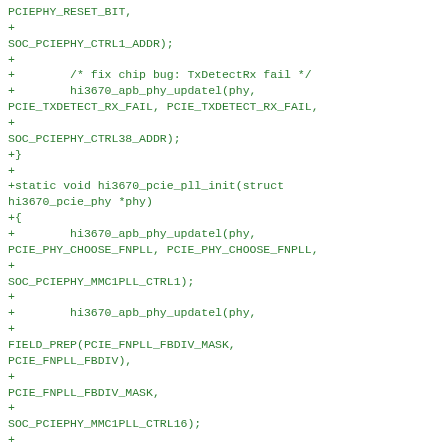[Figure (other): Source code diff snippet in green monospace font showing C code for hi3670 PCIe PHY initialization functions, including hi3670_pcie_pll_init with calls to hi3670_apb_phy_updatel and FIELD_PREP macros.]